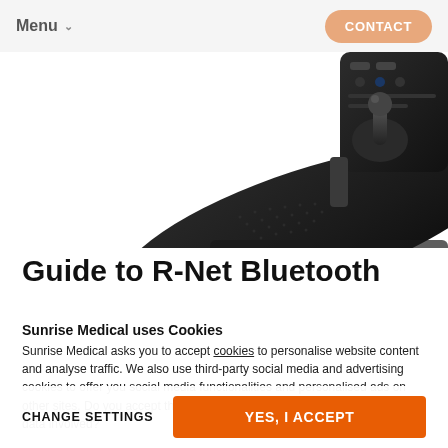Menu   CONTACT
[Figure (photo): Close-up photo of a power wheelchair joystick controller arm rest, black with textured surface and joystick visible at top right]
Guide to R-Net Bluetooth
Sunrise Medical uses Cookies
Sunrise Medical asks you to accept cookies to personalise website content and analyse traffic. We also use third-party social media and advertising cookies to offer you social media functionalities and personalised ads on other sites. Do you accept these cookies and any processing of personal data involved?
CHANGE SETTINGS   YES, I ACCEPT